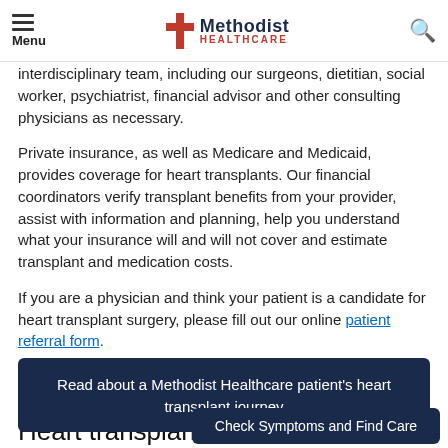Menu | Methodist Healthcare | Search
interdisciplinary team, including our surgeons, dietitian, social worker, psychiatrist, financial advisor and other consulting physicians as necessary.
Private insurance, as well as Medicare and Medicaid, provides coverage for heart transplants. Our financial coordinators verify transplant benefits from your provider, assist with information and planning, help you understand what your insurance will and will not cover and estimate transplant and medication costs.
If you are a physician and think your patient is a candidate for heart transplant surgery, please fill out our online patient referral form.
Read about a Methodist Healthcare patient's heart transplant journey
Check Symptoms and Find Care
Heart transplant list